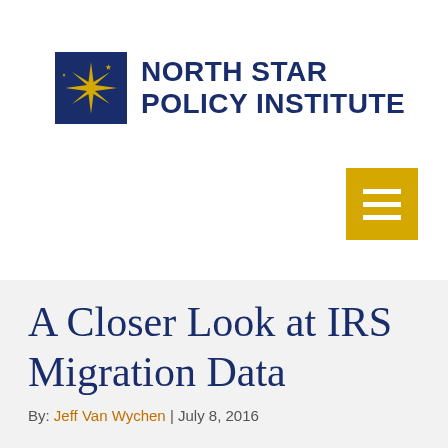[Figure (logo): North Star Policy Institute logo: dark blue square with gold star burst and smaller stars, followed by the text NORTH STAR POLICY INSTITUTE in bold dark blue sans-serif]
[Figure (other): Yellow/gold square hamburger menu icon with three white horizontal lines]
A Closer Look at IRS Migration Data
By: Jeff Van Wychen | July 8, 2016